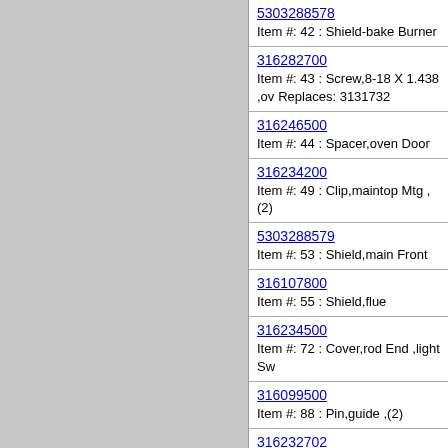5303288578
Item #: 42 : Shield-bake Burner
316282700
Item #: 43 : Screw,8-18 X 1.438 ,ov
Replaces: 3131732
316246500
Item #: 44 : Spacer,oven Door
316234200
Item #: 49 : Clip,maintop Mtg ,(2)
5303288579
Item #: 53 : Shield,main Front
316107800
Item #: 55 : Shield,flue
316234500
Item #: 72 : Cover,rod End ,light Sw
316099500
Item #: 88 : Pin,guide ,(2)
316232702
Item #: 88 : Rod,auto Latch
Replaces: 316232700
316213501